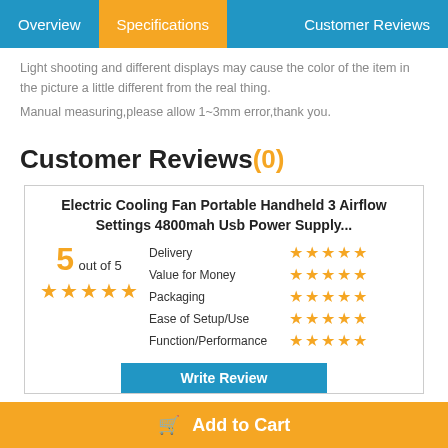Overview | Specifications | Customer Reviews
Light shooting and different displays may cause the color of the item in the picture a little different from the real thing.
Manual measuring,please allow 1~3mm error,thank you.
Customer Reviews(0)
| Product | Criteria | Rating |
| --- | --- | --- |
| Electric Cooling Fan Portable Handheld 3 Airflow Settings 4800mah Usb Power Supply... | Delivery | 5 stars |
|  | Value for Money | 5 stars |
|  | Packaging | 5 stars |
|  | Ease of Setup/Use | 5 stars |
|  | Function/Performance | 5 stars |
Write Review
Add to Cart